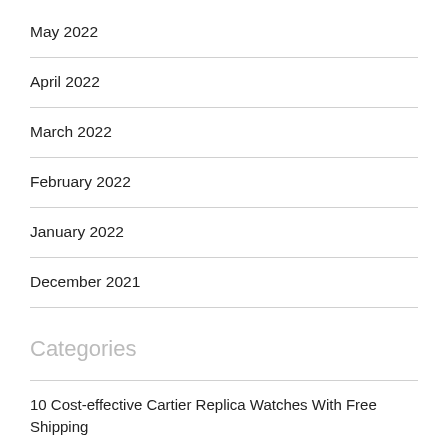May 2022
April 2022
March 2022
February 2022
January 2022
December 2021
Categories
10 Cost-effective Cartier Replica Watches With Free Shipping
11 Proven Ways To Buy Replica Watch Site 2020 Define